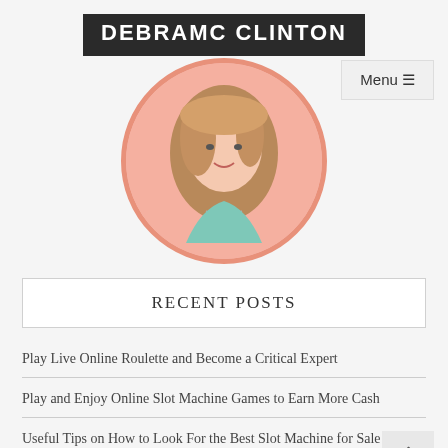DEBRAMC CLINTON
[Figure (illustration): Circular avatar illustration of a young woman with brown hair, wearing a teal top, on a pink background, framed with a salmon/coral circle border]
RECENT POSTS
Play Live Online Roulette and Become a Critical Expert
Play and Enjoy Online Slot Machine Games to Earn More Cash
Useful Tips on How to Look For the Best Slot Machine for Sale